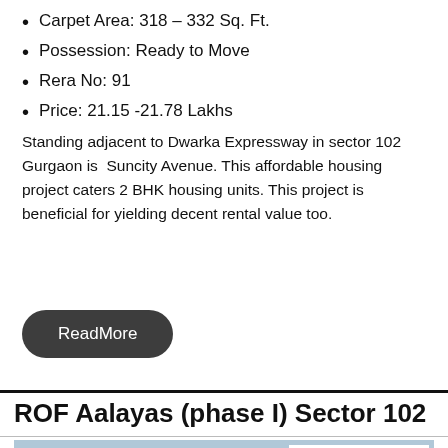Carpet Area: 318 – 332 Sq. Ft.
Possession: Ready to Move
Rera No: 91
Price: 21.15 -21.78 Lakhs
Standing adjacent to Dwarka Expressway in sector 102 Gurgaon is Suncity Avenue. This affordable housing project caters 2 BHK housing units. This project is beneficial for yielding decent rental value too.
ReadMore
ROF Aalayas (phase I) Sector 102
[Figure (photo): Exterior photo of ROF Aalayas apartment building with ROF Aalayas Sector 102 branding logo overlay and WhatsApp/phone contact buttons]